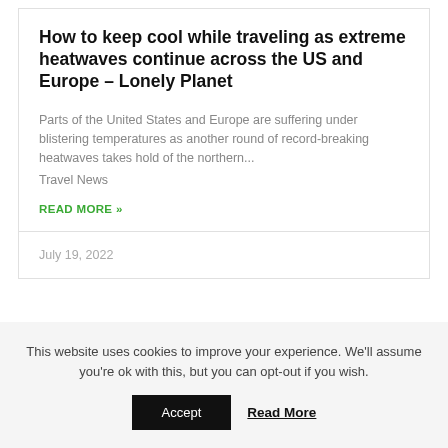How to keep cool while traveling as extreme heatwaves continue across the US and Europe – Lonely Planet
Parts of the United States and Europe are suffering under blistering temperatures as another round of record-breaking heatwaves takes hold of the northern... Travel News
READ MORE »
July 19, 2022
This website uses cookies to improve your experience. We'll assume you're ok with this, but you can opt-out if you wish.
Accept   Read More